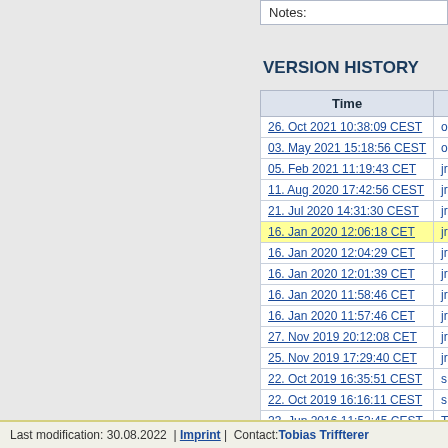| Notes: |
| --- |
VERSION HISTORY
| Time |  |
| --- | --- |
| 26. Oct 2021 10:38:09 CEST | o |
| 03. May 2021 15:18:56 CEST | o |
| 05. Feb 2021 11:19:43 CET | jr |
| 11. Aug 2020 17:42:56 CEST | jr |
| 21. Jul 2020 14:31:30 CEST | jr |
| 16. Jan 2020 12:06:18 CET | jr |
| 16. Jan 2020 12:04:29 CET | jr |
| 16. Jan 2020 12:01:39 CET | jr |
| 16. Jan 2020 11:58:46 CET | jr |
| 16. Jan 2020 11:57:46 CET | jr |
| 27. Nov 2019 20:12:08 CET | jr |
| 25. Nov 2019 17:29:40 CET | jr |
| 22. Oct 2019 16:35:51 CEST | s |
| 22. Oct 2019 16:16:11 CEST | s |
| 23. Jun 2016 11:52:45 CEST | T |
Last modification: 30.08.2022  |  Imprint  |  Contact: Tobias Triffterer